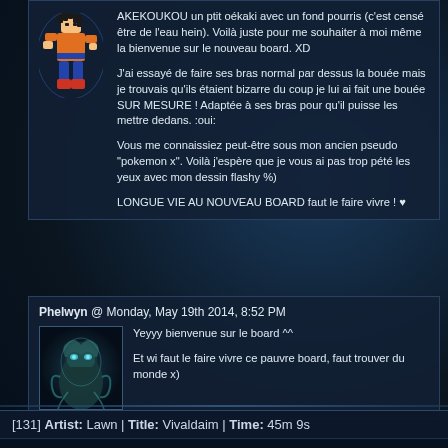AKEKOUKOU un ptit oékaki avec un fond pourris (c'est censé être de l'eau hein). Voilà juste pour me souhaiter à moi même la bienvenue sur le nouveau board. XD

J'ai essayé de faire ses bras normal par dessus la bouée mais je trouvais qu'ils étaient bizarre du coup je lui ai fait une bouée SUR MESURE ! Adaptée à ses bras pour qu'il puisse les mettre dedans. :oui:

Vous me connaissiez peut-être sous mon ancien pseudo "pokemon x". Voilà j'espère que je vous ai pas trop pété les yeux avec mon dessin flashy %)

LONGUE VIE AU NOUVEAU BOARD faut le faire vivre ! ♥
[Figure (illustration): Pixel art sprite of Goku from Dragon Ball Z in fighting stance, wearing orange gi]
Phelwyn @ Monday, May 19th 2014, 8:52 PM
[Figure (illustration): Dark fantasy artwork showing a mystical aquatic creature or deity with blue-green coloring]
Yeyyy bienvenue sur le board ^^

Et wi faut le faire vivre ce pauvre board, faut trouver du monde x)
[131] Artist: Lawn | Title: Vivaldaim | Time: 45m 9s